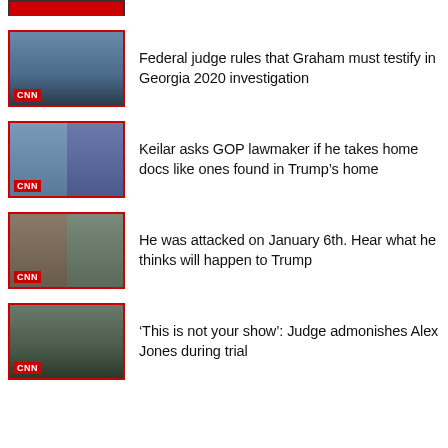[Figure (screenshot): CNN video thumbnail - partial red strip at top of page]
[Figure (screenshot): CNN video thumbnail showing Senator Lindsey Graham]
Federal judge rules that Graham must testify in Georgia 2020 investigation
[Figure (screenshot): CNN video thumbnail showing Brianna Keilar and a GOP lawmaker in split screen]
Keilar asks GOP lawmaker if he takes home docs like ones found in Trump’s home
[Figure (screenshot): CNN video thumbnail showing Trump and a bearded man in split screen]
He was attacked on January 6th. Hear what he thinks will happen to Trump
[Figure (screenshot): CNN video thumbnail showing courtroom scene]
‘This is not your show’: Judge admonishes Alex Jones during trial